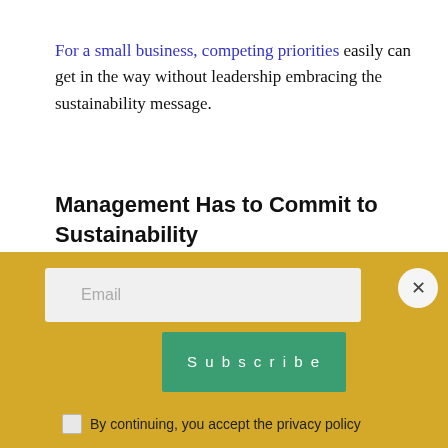For a small business, competing priorities easily can get in the way without leadership embracing the sustainability message.
Management Has to Commit to Sustainability
We have learned that once the message and behaviors permeate the company culture
[Figure (other): Email subscription widget with yellow background, an email input field, a green Subscribe button, a close (X) button, and a checkbox with 'By continuing, you accept the privacy policy' text.]